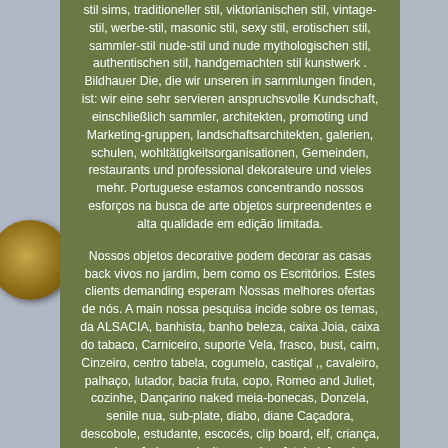stil sims, traditioneller stil, viktorianischen stil, vintage-stil, werbe-stil, masonic stil, sexy stil, erotischen stil, sammler-stil nude-stil und nude mythologischen stil, authentischen stil, handgemachten stil kunstwerk . Bildhauer Die, die wir unseren in sammlungen finden, ist: wir eine sehr servieren anspruchsvolle Kundschaft, einschließlich sammler, architekten, promoting und Marketing-gruppen, landschaftsarchitekten, galerien, schulen, wohltätigkeitsorganisationen, Gemeinden, restaurants und professional dekorateure und vieles mehr. Portuguese estamos concentrando nossos esforços na busca de arte objetos surpreendentes e alta qualidade em edição limitada.
Nossos objetos decorative podem decorar as casas back vivos no jardim, bem como os Escritórios. Estes clients demanding esperam Nossas melhores ofertas de nós. A main nossa pesquisa incide sobre os temas, da ALSACIA, banhista, banho beleza, caixa Joia, caixa do tabaco, Carniceiro, suporte Vela, frasco, bust, caim, Cinzeiro, centro tabela, cogumelo, castiçal ,, cavaleiro, palhaço, lutador, bacia fruta, copo, Romeo and Juliet, cozinhe, Dançarino naked meia-bonecas, Donzela, senile nua, sub-plate, diabo, diane Caçadora, descobole, estudante, escocés, clip board, elf, criança, esgrima, fada ,, agricultor, menina, futebol, ferreiro, homem da fruta, menino, Gueixa, cavalheiro, gladiador, jogador Gulf, noivo, meio pino da boneca almofadas, alfineteiro, homem despido, óleo, Jardineiro, Jóquei, cozinha, gole large, justiça, colheita, nascimento, vitória, Videira, jardim, despertar, estrela cadente, oovo, lupa, doente, maquilhagem.
Os animais também estão no centro de nossa pesquisa: Águia, garça